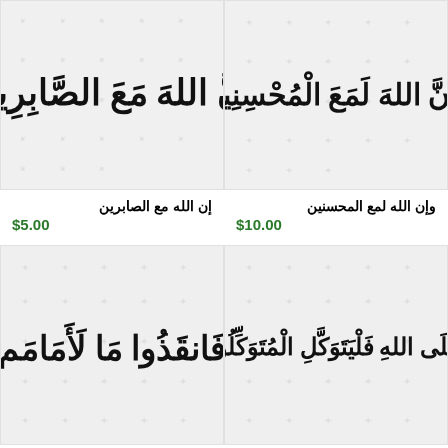[Figure (illustration): Arabic calligraphy: إن الله مع الصابرين on decorative background with watermark pattern]
[Figure (illustration): Arabic calligraphy: وإن الله لمع المحسنين on decorative background with watermark pattern]
إن الله مع الصابرين
$5.00
وإن الله لمع المحسنين
$10.00
[Figure (illustration): Arabic calligraphy: فانقذوا ما لا أمام on decorative background with watermark pattern]
[Figure (illustration): Arabic calligraphy: وعلى الله فليتوكل المتوكلون on decorative background with watermark pattern]